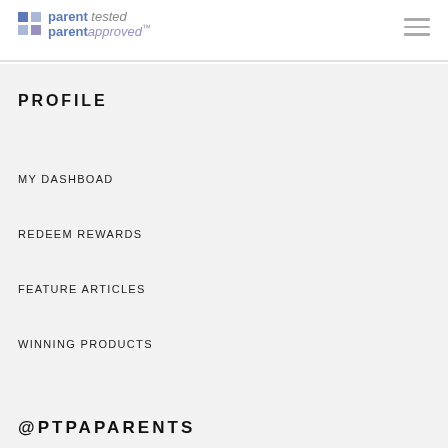[Figure (logo): Parent Tested Parent Approved logo with colored grid icon]
PROFILE
MY DASHBOAD
REDEEM REWARDS
FEATURE ARTICLES
WINNING PRODUCTS
@PTPAPARENTS